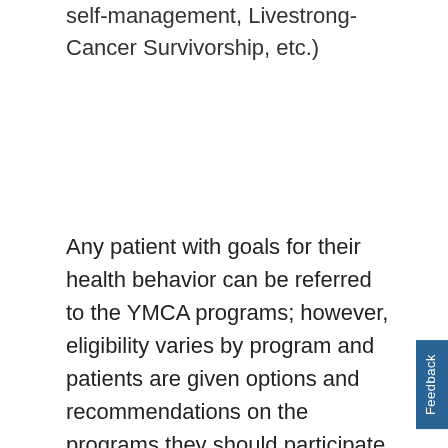self-management, Livestrong-Cancer Survivorship, etc.)
Any patient with goals for their health behavior can be referred to the YMCA programs; however, eligibility varies by program and patients are given options and recommendations on the programs they should participate in.
One of the main advantages for patients is that any Swedish physicians can refer a patient to the YMCA, which connects the patient to a YMCA health coach who guides the patient into a specific program.